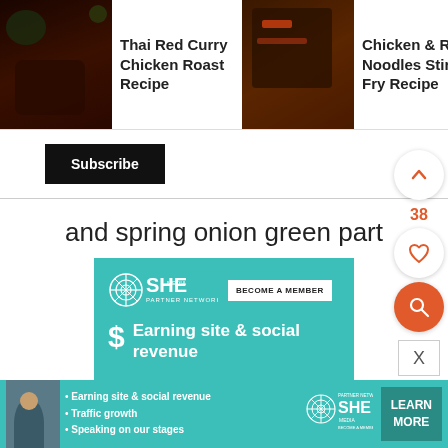[Figure (screenshot): Recipe carousel with food images: Thai Red Curry Chicken Roast Recipe, Chicken & Rice Noodles Stir Fry Recipe, Sticky Thai Chicken (partial, with orange arrow)]
Subscribe
and spring onion green part
[Figure (screenshot): SHE Media Partner Network advertisement banner in teal/turquoise: logo with circle design, BECOME A MEMBER button, dollar sign icon, text 'Earning site & social revenue']
[Figure (screenshot): Side floating UI buttons: up arrow circle, number 38, heart circle, orange search circle, X close box]
[Figure (screenshot): Bottom SHE Media Partner Network banner strip: person photo, bullet points 'Earning site & social revenue', 'Traffic growth', 'Speaking on our stages', SHE logo, LEARN MORE button]